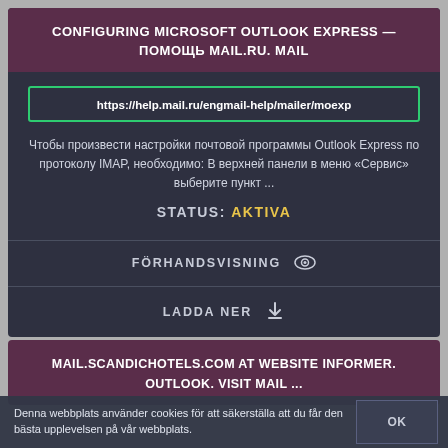CONFIGURING MICROSOFT OUTLOOK EXPRESS — ПОМОЩЬ MAIL.RU. MAIL
https://help.mail.ru/engmail-help/mailer/moexp
Чтобы произвести настройки почтовой программы Outlook Express по протоколу IMAP, необходимо: В верхней панели в меню «Сервис» выберите пункт ...
STATUS: AKTIVA
FÖRHANDSVISNING
LADDA NER
MAIL.SCANDICHOTELS.COM AT WEBSITE INFORMER. OUTLOOK. VISIT MAIL ...
Denna webbplats använder cookies för att säkerställa att du får den bästa upplevelsen på vår webbplats.
OK